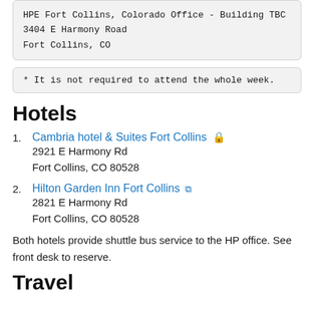HPE Fort Collins, Colorado Office - Building TBC
3404 E Harmony Road
Fort Collins, CO
* It is not required to attend the whole week.
Hotels
1. Cambria hotel & Suites Fort Collins 🔒
2921 E Harmony Rd
Fort Collins, CO 80528
2. Hilton Garden Inn Fort Collins 🔗
2821 E Harmony Rd
Fort Collins, CO 80528
Both hotels provide shuttle bus service to the HP office. See front desk to reserve.
Travel